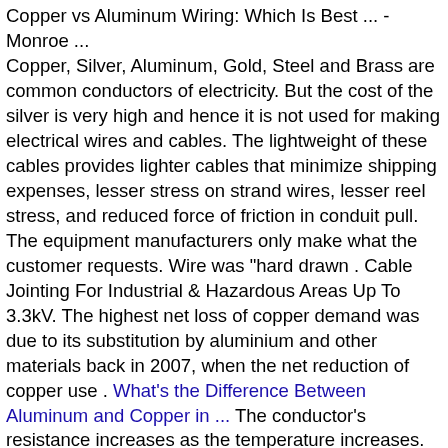Copper vs Aluminum Wiring: Which Is Best ... - Monroe ... Copper, Silver, Aluminum, Gold, Steel and Brass are common conductors of electricity. But the cost of the silver is very high and hence it is not used for making electrical wires and cables. The lightweight of these cables provides lighter cables that minimize shipping expenses, lesser stress on strand wires, lesser reel stress, and reduced force of friction in conduit pull. The equipment manufacturers only make what the customer requests. Wire was "hard drawn . Cable Jointing For Industrial & Hazardous Areas Up To 3.3kV. The highest net loss of copper demand was due to its substitution by aluminium and other materials back in 2007, when the net reduction of copper use . [What's the Difference Between Aluminum and Copper in ...] The conductor's resistance increases as the temperature increases. [Aluminium & Copper Current Carrying Capacity Calculation ...] [Electrical Conductivity of Materials - Blue Sea] Taken together, copper-clad aluminum is very advantageous. Now select an aluminum conductor from the 60°C column that has an ampacity of 55 amperes or higher. Even on jobs that spec copper feeders, one of the first questions we ask during tender is if aluminum is acceptable. Learn the difference between terminating aluminum and copper conductors. This is important considering that electrical wiring is often installed according it...